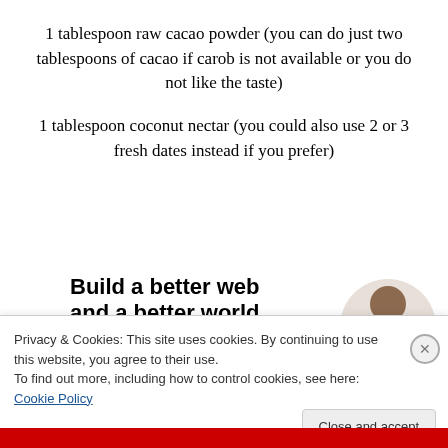1 tablespoon raw cacao powder (you can do just two tablespoons of cacao if carob is not available or you do not like the taste)
1 tablespoon coconut nectar (you could also use 2 or 3 fresh dates instead if you prefer)
[Figure (infographic): Advertisement banner: 'Build a better web and a better world.' with an Apply button and a photo of a man thinking]
Privacy & Cookies: This site uses cookies. By continuing to use this website, you agree to their use.
To find out more, including how to control cookies, see here: Cookie Policy
Close and accept